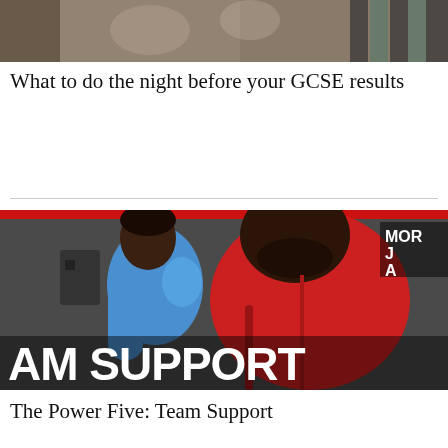[Figure (photo): Partial top image, appears to show fabric or textile pattern, cropped]
What to do the night before your GCSE results
[Figure (photo): Two men in athletic wear in a gym setting, one in blue shirt and one in red jacket, with text overlay 'AM SUPPORT' at bottom and 'MOR J A' partially visible at top right]
The Power Five: Team Support